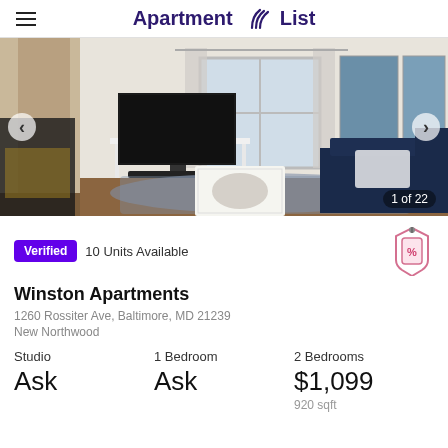Apartment List
[Figure (photo): Interior photo of an apartment living room with a dark navy sectional sofa, white coffee table, blue patterned rug, wall-mounted TV on white media console, window with curtains, and two blue abstract paintings on the wall. Counter shows 1 of 22.]
Verified  10 Units Available
Winston Apartments
1260 Rossiter Ave, Baltimore, MD 21239
New Northwood
Studio
Ask
1 Bedroom
Ask
2 Bedrooms
$1,099
920 sqft